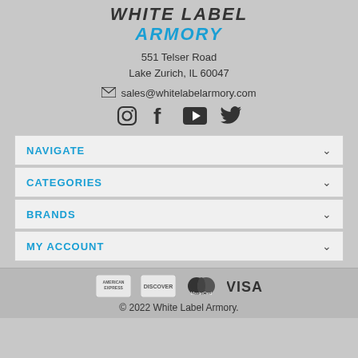[Figure (logo): White Label Armory logo with WHITE LABEL in dark italic and ARMORY in blue italic]
551 Telser Road
Lake Zurich, IL 60047
✉ sales@whitelabelarmory.com
[Figure (infographic): Social media icons: Instagram, Facebook, YouTube, Twitter]
NAVIGATE
CATEGORIES
BRANDS
MY ACCOUNT
[Figure (infographic): Payment method logos: American Express, Discover, Mastercard, Visa]
© 2022 White Label Armory.